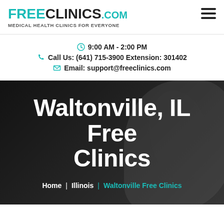FREE CLINICS.COM Medical Health Clinics For Everyone
9:00 AM - 2:00 PM
Call Us: (641) 715-3900 Extension: 301402
Email: support@freeclinics.com
Waltonville, IL Free Clinics
Home | Illinois | Waltonville Free Clinics